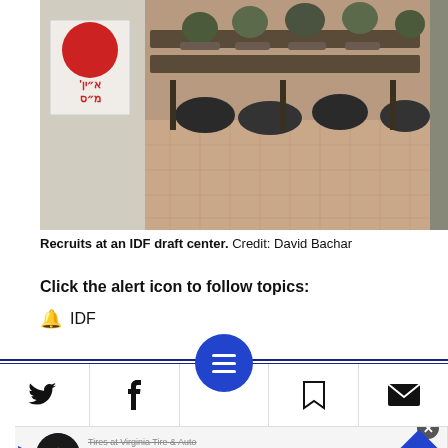[Figure (photo): Recruits at an IDF draft center, sitting behind desks/tables in military uniforms, with duffel bags on the floor. A wall on the left has a Hebrew sign with a red circle.]
Recruits at an IDF draft center.  Credit: David Bachar
Click the alert icon to follow topics:
🔔 IDF
[Figure (infographic): Social media sharing bar with Twitter, Facebook, bookmark, and email icons, and a blue circular menu button in the center with three horizontal lines.]
[Figure (infographic): Advertisement banner: Save Up To $75 on New Tires - Virginia Tire & Auto]